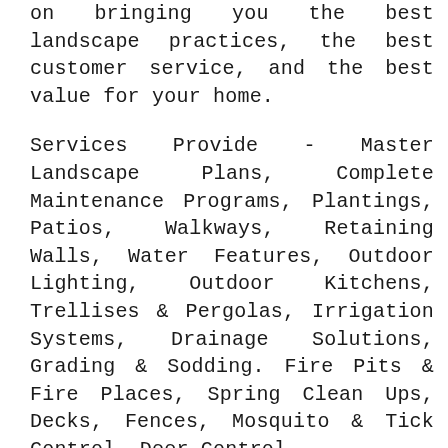on bringing you the best landscape practices, the best customer service, and the best value for your home.
Services Provide - Master Landscape Plans, Complete Maintenance Programs, Plantings, Patios, Walkways, Retaining Walls, Water Features, Outdoor Lighting, Outdoor Kitchens, Trellises & Pergolas, Irrigation Systems, Drainage Solutions, Grading & Sodding. Fire Pits & Fire Places, Spring Clean Ups, Decks, Fences, Mosquito & Tick Control, Deer Control.
Areas Served - Chevy Chase, Bethesda, Potomac, Rockville, North Potomac,